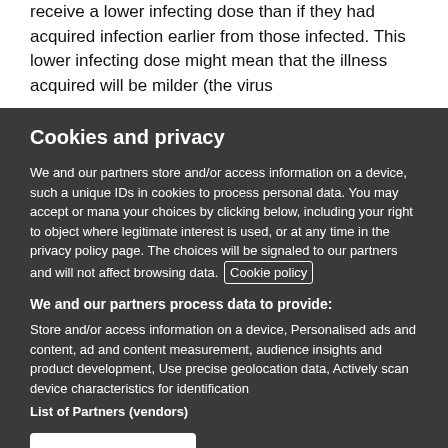receive a lower infecting dose than if they had acquired infection earlier from those infected. This lower infecting dose might mean that the illness acquired will be milder (the virus
Cookies and privacy
We and our partners store and/or access information on a device, such as unique IDs in cookies to process personal data. You may accept or manage your choices by clicking below, including your right to object where legitimate interest is used, or at any time in the privacy policy page. These choices will be signaled to our partners and will not affect browsing data. Cookie policy
We and our partners process data to provide:
Store and/or access information on a device, Personalised ads and content, ad and content measurement, audience insights and product development, Use precise geolocation data, Actively scan device characteristics for identification
List of Partners (vendors)
I Accept